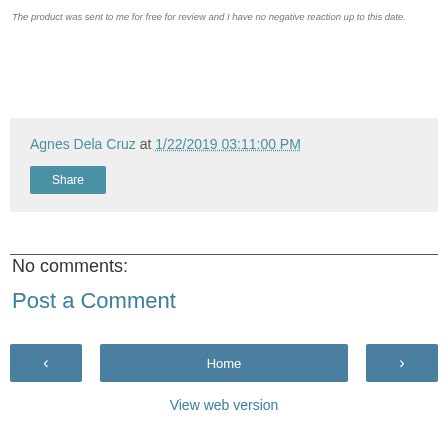The product was sent to me for free for review and I have no negative reaction up to this date.
Agnes Dela Cruz at 1/22/2019 03:11:00 PM
Share
No comments:
Post a Comment
‹
Home
›
View web version